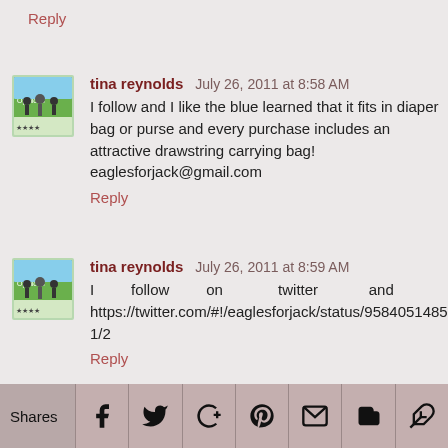Reply
tina reynolds  July 26, 2011 at 8:58 AM
I follow and I like the blue learned that it fits in diaper bag or purse and every purchase includes an attractive drawstring carrying bag! eaglesforjack@gmail.com
Reply
tina reynolds  July 26, 2011 at 8:59 AM
I follow on twitter and tweeted https://twitter.com/#!/eaglesforjack/status/95840514850562049 1/2
Reply